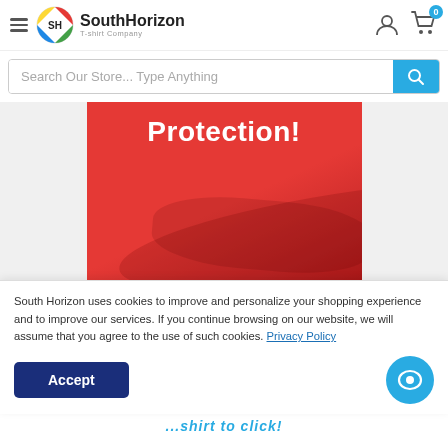[Figure (logo): South Horizon T-shirt Company logo with colorful circular SH emblem]
Search Our Store... Type Anything
[Figure (photo): Red t-shirt with white bold text reading 'Protection!']
South Horizon uses cookies to improve and personalize your shopping experience and to improve our services. If you continue browsing on our website, we will assume that you agree to the use of such cookies. Privacy Policy
Accept